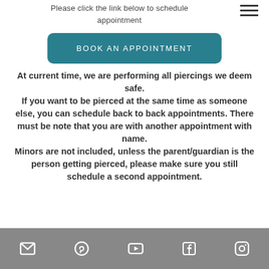younger.
Please click the link below to schedule appointment
[Figure (other): Hamburger menu icon (three horizontal lines)]
BOOK AN APPOINTMENT
At current time, we are performing all piercings we deem safe. If you want to be pierced at the same time as someone else, you can schedule back to back appointments. There must be note that you are with another appointment with name. Minors are not included, unless the parent/guardian is the person getting pierced, please make sure you still schedule a second appointment.
[Figure (other): Website footer with social media icons: email, Pinterest, YouTube, Facebook, Instagram]